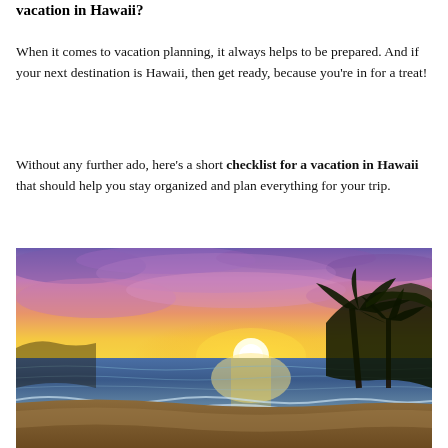vacation in Hawaii?
When it comes to vacation planning, it always helps to be prepared. And if your next destination is Hawaii, then get ready, because you're in for a treat!
Without any further ado, here's a short checklist for a vacation in Hawaii that should help you stay organized and plan everything for your trip.
[Figure (photo): A scenic Hawaii beach sunset photograph showing ocean waves washing onto shore with silhouettes of palm trees and tropical foliage on the right, a bright golden-yellow sun near the horizon, and a vibrant purple-pink and blue sky with clouds above.]